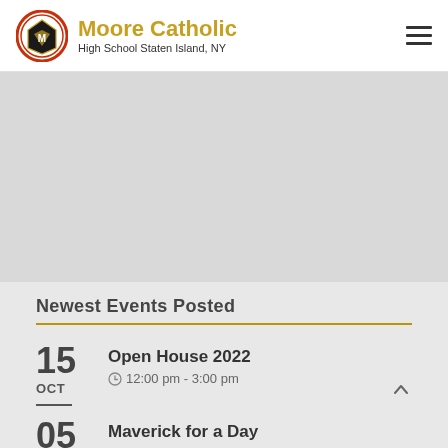[Figure (logo): Moore Catholic High School logo: circular emblem with shield, name 'Moore Catholic' in gold, subtitle 'High School Staten Island, NY']
[Figure (photo): Gray placeholder image area below header]
Newest Events Posted
15 OCT — Open House 2022, 12:00 pm - 3:00 pm
05 — Maverick for a Day